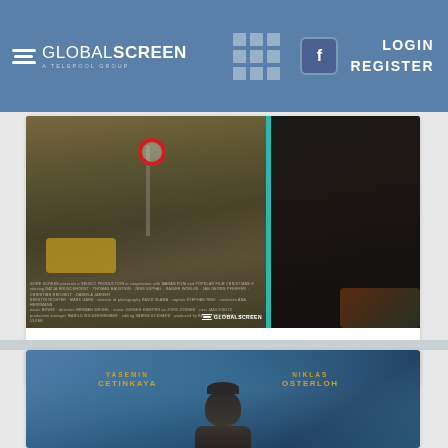Global Screen — LOGIN REGISTER
[Figure (screenshot): Movie poster for Christiane F. — split image: left side shows a young male teenager on a city street with a yellow car, right side shows a red-haired female with dark clothing. GlobalScreen logo at bottom left of poster.]
CHRISTIANE F.
[Figure (photo): Blue-toned movie poster with actor credits: YASEMIN CETINKAYA (left) and NIKLAS OSTERLOH (right), with a figure wearing a beanie hat at bottom center.]